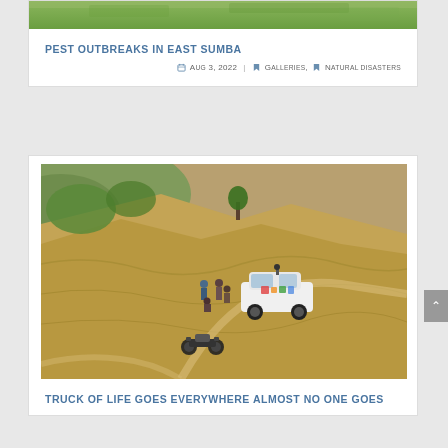[Figure (photo): Green rice field or crop field aerial/top view — top strip of image visible]
PEST OUTBREAKS IN EAST SUMBA
Aug 3, 2022 | Galleries, Natural disasters
[Figure (photo): Aerial drone photo of a hillside dry grassland/field. People standing near a white SUV truck decorated with colorful stickers. A motorcycle is parked nearby on a dirt path. Rolling dry brown hills in background.]
TRUCK OF LIFE GOES EVERYWHERE ALMOST NO ONE GOES